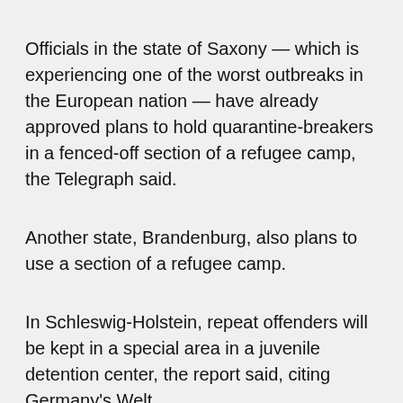Officials in the state of Saxony — which is experiencing one of the worst outbreaks in the European nation — have already approved plans to hold quarantine-breakers in a fenced-off section of a refugee camp, the Telegraph said.
Another state, Brandenburg, also plans to use a section of a refugee camp.
In Schleswig-Holstein, repeat offenders will be kept in a special area in a juvenile detention center, the report said, citing Germany's Welt